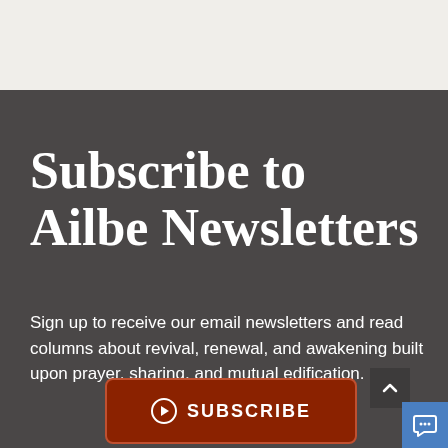Subscribe to Ailbe Newsletters
Sign up to receive our email newsletters and read columns about revival, renewal, and awakening built upon prayer, sharing, and mutual edification.
[Figure (other): A dark red rounded rectangle button with a circle-arrow icon and the text SUBSCRIBE in white capital letters]